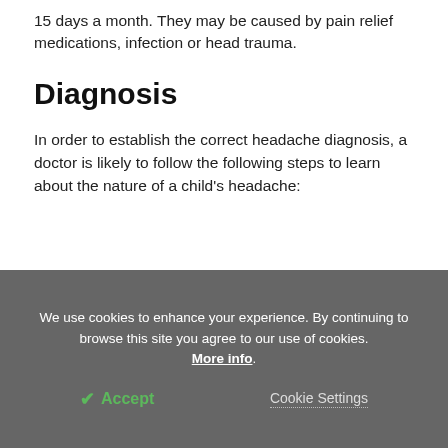15 days a month. They may be caused by pain relief medications, infection or head trauma.
Diagnosis
In order to establish the correct headache diagnosis, a doctor is likely to follow the following steps to learn about the nature of a child's headache:
We use cookies to enhance your experience. By continuing to browse this site you agree to our use of cookies. More info.
✔ Accept
Cookie Settings